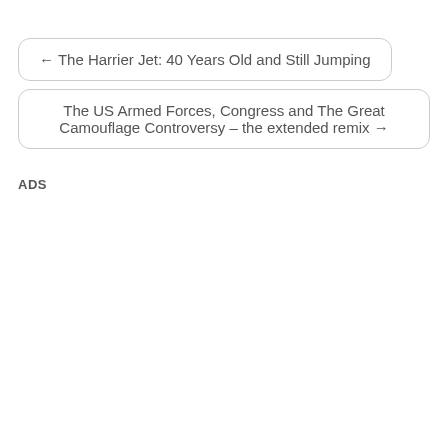← The Harrier Jet: 40 Years Old and Still Jumping
The US Armed Forces, Congress and The Great Camouflage Controversy – the extended remix →
ADS